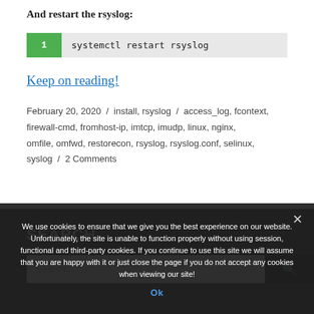And restart the rsyslog:
1   systemctl restart rsyslog
Keep on reading!
February 20, 2020 / install, rsyslog / access_log, fcontext, firewall-cmd, fromhost-ip, imtcp, imudp, linux, nginx, omfile, omfwd, restorecon, rsyslog, rsyslog.conf, selinux, syslog / 2 Comments
SEARCH
We use cookies to ensure that we give you the best experience on our website. Unfortunately, the site is unable to function properly without using session, functional and third-party cookies. If you continue to use this site we will assume that you are happy with it or just close the page if you do not accept any cookies when viewing our site!
Ok